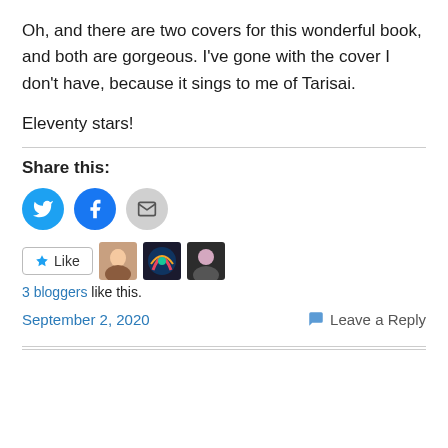Oh, and there are two covers for this wonderful book, and both are gorgeous. I've gone with the cover I don't have, because it sings to me of Tarisai.
Eleventy stars!
Share this:
[Figure (infographic): Three social sharing icon buttons: Twitter (blue circle with bird), Facebook (blue circle with f), Email (gray circle with envelope)]
[Figure (infographic): Like button with star icon and three blogger avatar thumbnails]
3 bloggers like this.
September 2, 2020   Leave a Reply